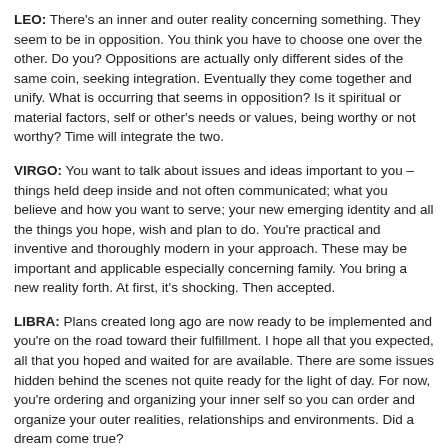LEO: There's an inner and outer reality concerning something. They seem to be in opposition. You think you have to choose one over the other. Do you? Oppositions are actually only different sides of the same coin, seeking integration. Eventually they come together and unify. What is occurring that seems in opposition? Is it spiritual or material factors, self or other's needs or values, being worthy or not worthy? Time will integrate the two.
VIRGO: You want to talk about issues and ideas important to you – things held deep inside and not often communicated; what you believe and how you want to serve; your new emerging identity and all the things you hope, wish and plan to do. You're practical and inventive and thoroughly modern in your approach. These may be important and applicable especially concerning family. You bring a new reality forth. At first, it's shocking. Then accepted.
LIBRA: Plans created long ago are now ready to be implemented and you're on the road toward their fulfillment. I hope all that you expected, all that you hoped and waited for are available. There are some issues hidden behind the scenes not quite ready for the light of day. For now, you're ordering and organizing your inner self so you can order and organize your outer realities, relationships and environments. Did a dream come true?